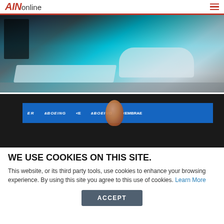AINonline
[Figure (photo): Aerial/display view of aircraft models with teal/cyan lighting at an aviation show]
[Figure (photo): Exhibition booth with blue Boeing and Embraer branded banner, finger pointing at display]
WE USE COOKIES ON THIS SITE.
This website, or its third party tools, use cookies to enhance your browsing experience. By using this site you agree to this use of cookies. Learn More
ACCEPT